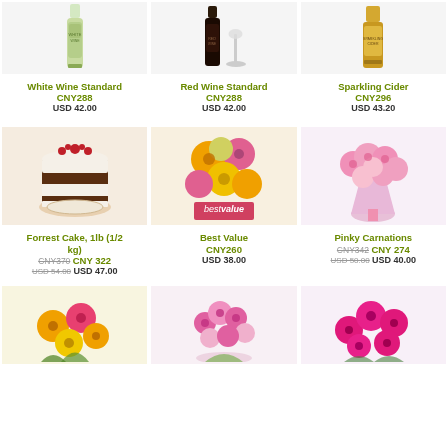[Figure (photo): White wine bottle]
White Wine Standard
CNY288
USD 42.00
[Figure (photo): Red wine bottle with glass]
Red Wine Standard
CNY288
USD 42.00
[Figure (photo): Sparkling cider bottle]
Sparkling Cider
CNY296
USD 43.20
[Figure (photo): Chocolate layer cake with berries]
Forrest Cake, 1lb (1/2 kg)
CNY370 CNY 322
USD 54.00 USD 47.00
[Figure (photo): Colorful gerbera and mixed flowers arrangement with best value label]
Best Value
CNY260
USD 38.00
[Figure (photo): Pink carnations bouquet]
Pinky Carnations
CNY342 CNY 274
USD 50.00 USD 40.00
[Figure (photo): Colorful gerbera daisy bouquet]
[Figure (photo): Pink mixed carnation bouquet]
[Figure (photo): Hot pink roses bouquet]